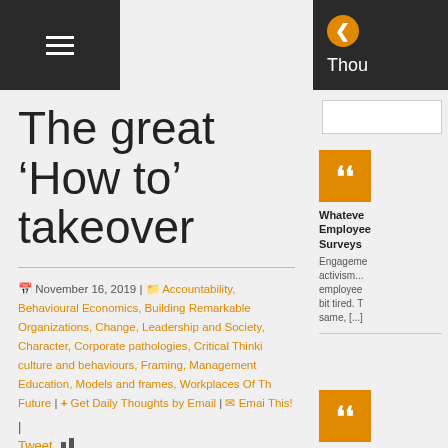☰ (hamburger menu)
The great ‘How to’ takeover
November 16, 2019 | Accountability, Behavioural Economics, Building Remarkable Organizations, Change, Leadership and Society, Character, Corporate pathologies, Critical Thinking, culture and behaviours, Framing, Management Education, Models and frames, Workplaces Of The Future | + Get Daily Thoughts by Email | Email This!
Tweet
Whatever Employee Surveys...
Engagement activism... employee bit tired. The same, [...]